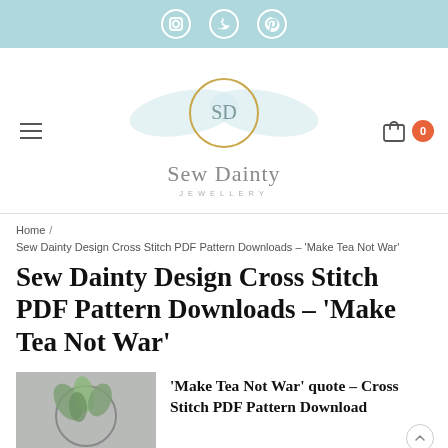Social media icons: Instagram, Twitter, Pinterest
[Figure (logo): Sew Dainty Jewellery logo — circular gold ring with 'SD' monogram, wing motif, text 'Sew Dainty' and 'JEWELLERY']
Home / Sew Dainty Design Cross Stitch PDF Pattern Downloads – 'Make Tea Not War'
Sew Dainty Design Cross Stitch PDF Pattern Downloads – 'Make Tea Not War'
[Figure (photo): Product photo showing a cross stitch hoop with floral greenery decoration on a neutral background]
'Make Tea Not War' quote – Cross Stitch PDF Pattern Download